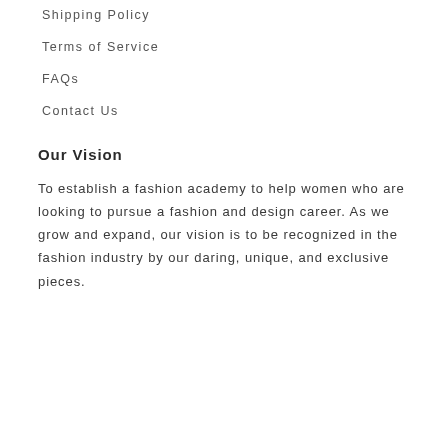Shipping Policy
Terms of Service
FAQs
Contact Us
Our Vision
To establish a fashion academy to help women who are looking to pursue a fashion and design career. As we grow and expand, our vision is to be recognized in the fashion industry by our daring, unique, and exclusive pieces.